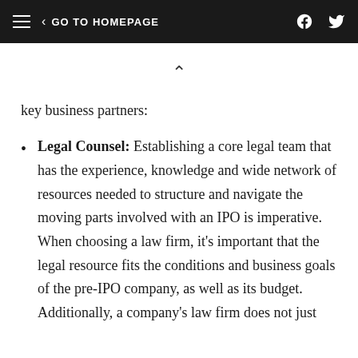GO TO HOMEPAGE
key business partners:
Legal Counsel: Establishing a core legal team that has the experience, knowledge and wide network of resources needed to structure and navigate the moving parts involved with an IPO is imperative. When choosing a law firm, it's important that the legal resource fits the conditions and business goals of the pre-IPO company, as well as its budget. Additionally, a company's law firm does not just